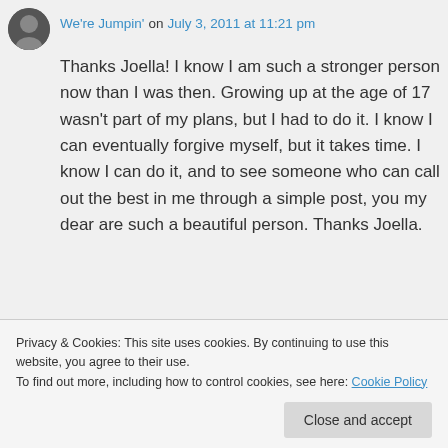We're Jumpin' on July 3, 2011 at 11:21 pm
Thanks Joella! I know I am such a stronger person now than I was then. Growing up at the age of 17 wasn't part of my plans, but I had to do it. I know I can eventually forgive myself, but it takes time. I know I can do it, and to see someone who can call out the best in me through a simple post, you my dear are such a beautiful person. Thanks Joella.
Privacy & Cookies: This site uses cookies. By continuing to use this website, you agree to their use. To find out more, including how to control cookies, see here: Cookie Policy
Close and accept